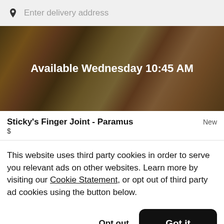Enter delivery address
[Figure (photo): Food photo banner with dark overlay showing various dishes, with text 'Available Wednesday 10:45 AM']
Sticky's Finger Joint - Paramus   New
$
This website uses third party cookies in order to serve you relevant ads on other websites. Learn more by visiting our Cookie Statement, or opt out of third party ad cookies using the button below.
Opt out
Got it